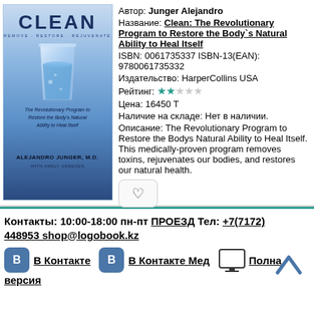[Figure (illustration): Book cover for CLEAN by Alejandro Junger M.D. with Amely Greeven. Blue gradient background with a glass of water. Subtitle: The Revolutionary Program to Restore the Body's Natural Ability to Heal Itself.]
Автор: Junger Alejandro
Название: Clean: The Revolutionary Program to Restore the Body`s Natural Ability to Heal Itself
ISBN: 0061735337 ISBN-13(EAN): 9780061735332
Издательство: HarperCollins USA
Рейтинг: ★★☆☆☆
Цена: 16450 Т
Наличие на складе: Нет в наличии.
Описание: The Revolutionary Program to Restore the Bodys Natural Ability to Heal Itself. This medically-proven program removes toxins, rejuvenates our bodies, and restores our natural health.
Контакты: 10:00-18:00 пн-пт ПРОЕЗД Тел: +7(7172) 448953 shop@logobook.kz
В Контакте
В Контакте Мед
Полна версия